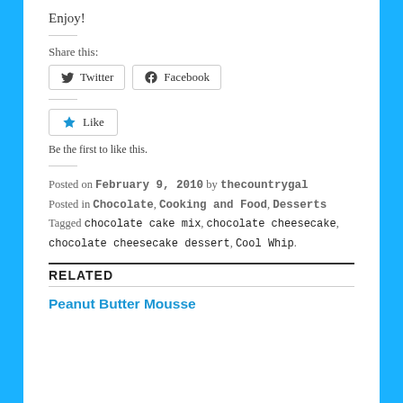Enjoy!
Share this:
[Figure (screenshot): Twitter and Facebook share buttons]
[Figure (screenshot): Like button with star icon]
Be the first to like this.
Posted on February 9, 2010 by thecountrygal
Posted in Chocolate, Cooking and Food, Desserts
Tagged chocolate cake mix, chocolate cheesecake, chocolate cheesecake dessert, Cool Whip.
RELATED
Peanut Butter Mousse